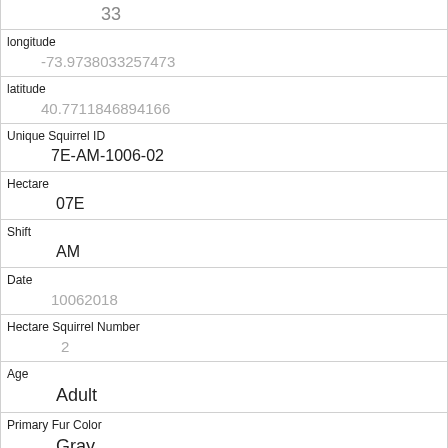| 33 |
| longitude | -73.9738033257473 |
| latitude | 40.7711846894166 |
| Unique Squirrel ID | 7E-AM-1006-02 |
| Hectare | 07E |
| Shift | AM |
| Date | 10062018 |
| Hectare Squirrel Number | 2 |
| Age | Adult |
| Primary Fur Color | Gray |
| Highlight Fur Color |  |